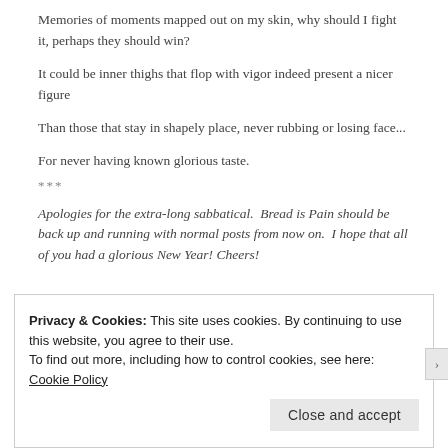Memories of moments mapped out on my skin, why should I fight it, perhaps they should win?
It could be inner thighs that flop with vigor indeed present a nicer figure
Than those that stay in shapely place, never rubbing or losing face...
For never having known glorious taste.
***
Apologies for the extra-long sabbatical.  Bread is Pain should be back up and running with normal posts from now on.  I hope that all of you had a glorious New Year! Cheers!
Privacy & Cookies: This site uses cookies. By continuing to use this website, you agree to their use.
To find out more, including how to control cookies, see here: Cookie Policy
Close and accept